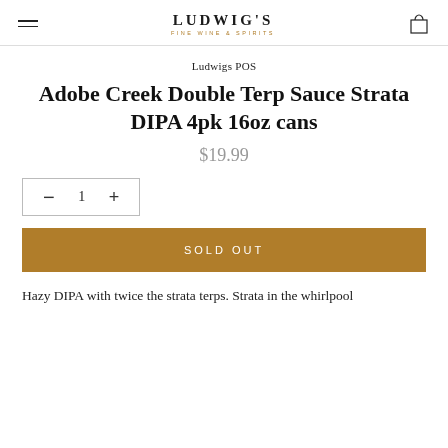LUDWIG'S FINE WINE & SPIRITS
Ludwigs POS
Adobe Creek Double Terp Sauce Strata DIPA 4pk 16oz cans
$19.99
− 1 +
SOLD OUT
Hazy DIPA with twice the strata terps. Strata in the whirlpool